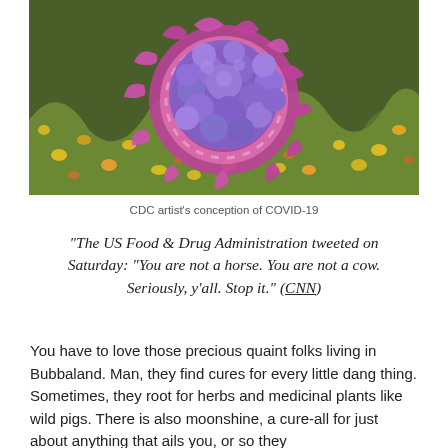[Figure (illustration): CDC artist's conception of COVID-19 virus — a colorful stylized illustration showing purple and magenta coronavirus particles with spike proteins surrounded by yellow and orange shapes on a green background.]
CDC artist's conception of COVID-19
“The US Food & Drug Administration tweeted on Saturday: “You are not a horse. You are not a cow. Seriously, y’all. Stop it.” (CNN)
You have to love those precious quaint folks living in Bubbaland. Man, they find cures for every little dang thing. Sometimes, they root for herbs and medicinal plants like wild pigs. There is also moonshine, a cure-all for just about anything that ails you, or so they...